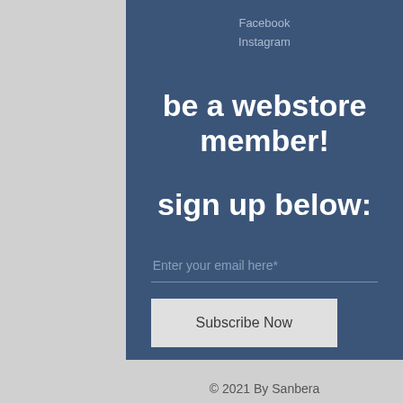Facebook
Instagram
be a webstore member!
sign up below:
Enter your email here*
Subscribe Now
© 2021 By Sanbera